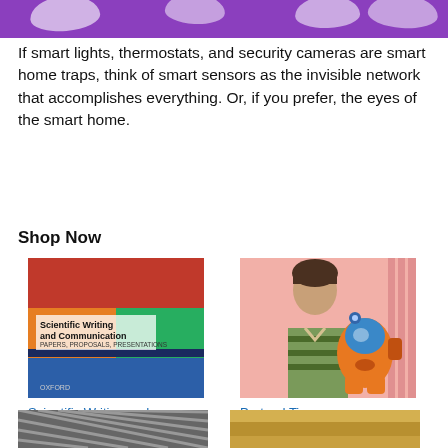[Figure (photo): Purple banner at top of page with white rounded pill/device shapes]
If smart lights, thermostats, and security cameras are smart home traps, think of smart sensors as the invisible network that accomplishes everything. Or, if you prefer, the eyes of the smart home.
Shop Now
[Figure (photo): Book cover of Scientific Writing and Communication: Papers...]
Scientific Writing and Communication: Papers...
$30.00 $39.95 ✓prime
★★★★½ (62)
[Figure (photo): Photo of person with Pretend Time cartoon character]
Pretend Time
$1.99
★★★★★ (3667)
[Figure (photo): Partial product image bottom left]
[Figure (photo): Partial product image bottom right]